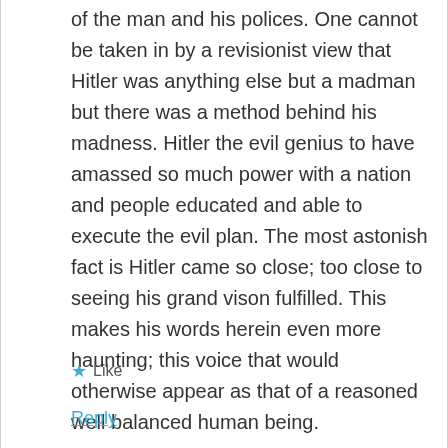of the man and his polices. One cannot be taken in by a revisionist view that Hitler was anything else but a madman but there was a method behind his madness. Hitler the evil genius to have amassed so much power with a nation and people educated and able to execute the evil plan. The most astonish fact is Hitler came so close; too close to seeing his grand vison fulfilled. This makes his words herein even more haunting; this voice that would otherwise appear as that of a reasoned well balanced human being.
★ Like
Reply